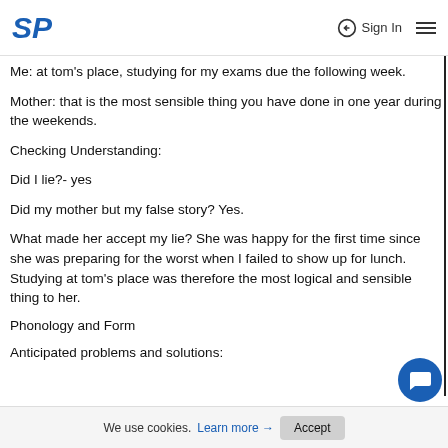SP  Sign In
Me: at tom's place, studying for my exams due the following week.
Mother: that is the most sensible thing you have done in one year during the weekends.
Checking Understanding:
Did I lie?- yes
Did my mother but my false story? Yes.
What made her accept my lie? She was happy for the first time since she was preparing for the worst when I failed to show up for lunch. Studying at tom's place was therefore the most logical and sensible thing to her.
Phonology and Form
Anticipated problems and solutions:
We use cookies. Learn more → Accept